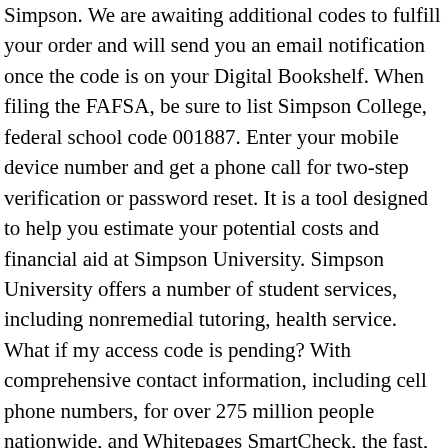Simpson. We are awaiting additional codes to fulfill your order and will send you an email notification once the code is on your Digital Bookshelf. When filing the FAFSA, be sure to list Simpson College, federal school code 001887. Enter your mobile device number and get a phone call for two-step verification or password reset. It is a tool designed to help you estimate your potential costs and financial aid at Simpson University. Simpson University offers a number of student services, including nonremedial tutoring, health service. What if my access code is pending? With comprehensive contact information, including cell phone numbers, for over 275 million people nationwide, and Whitepages SmartCheck, the fast, comprehensive background check compiled from criminal and other records from all 50 states.Landlords use Whitepages TenantCheck, which is … Contact Us. a***@usq.edu.au. Skip to menu Skip to content Skip to footer. This program should have lifted me up and given me hope....instead I felt used up and spit out. 515-961-1511: